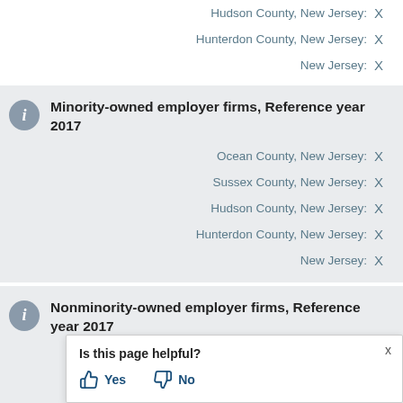Hudson County, New Jersey: X
Hunterdon County, New Jersey: X
New Jersey: X
Minority-owned employer firms, Reference year 2017
Ocean County, New Jersey: X
Sussex County, New Jersey: X
Hudson County, New Jersey: X
Hunterdon County, New Jersey: X
New Jersey: X
Nonminority-owned employer firms, Reference year 2017
Ocean County, New Jersey: X
Sussex County, New Jersey: X
Hudson County, New Jersey: X
Is this page helpful? Yes No